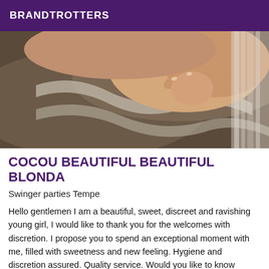BRANDTROTTERS
[Figure (photo): Close-up photo of a person lying down on a brown/dark fabric, with hands near the face, viewed from above.]
COCOU BEAUTIFUL BEAUTIFUL BLONDA
Swinger parties Tempe
Hello gentlemen I am a beautiful, sweet, discreet and ravishing young girl, I would like to thank you for the welcomes with discretion. I propose you to spend an exceptional moment with me, filled with sweetness and new feeling. Hygiene and discretion assured. Quality service. Would you like to know more? Come quickly to the appointment. Do not hesitate to contact me by phone